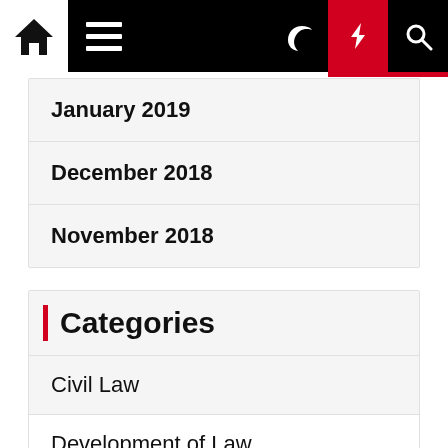[Figure (screenshot): Navigation bar with home icon, hamburger menu, moon icon, lightning/flash icon on red background, and search icon]
January 2019
December 2018
November 2018
Categories
Civil Law
Development of Law
General Article
Info Law
Institution of Law